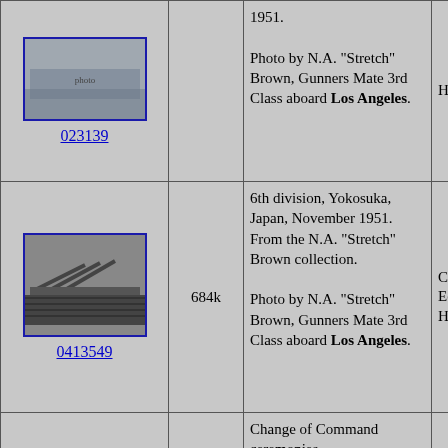| Photo | Size | Description | Donor |
| --- | --- | --- | --- |
| 023139 |  | 1951. Photo by N.A. "Stretch" Brown, Gunners Mate 3rd Class aboard Los Angeles. | Hipperson |
| 0413549 | 684k | 6th division, Yokosuka, Japan, November 1951. From the N.A. "Stretch" Brown collection. Photo by N.A. "Stretch" Brown, Gunners Mate 3rd Class aboard Los Angeles. | Carol Edgemon Hipperson |
|  |  | Change of Command ceremonies |  |